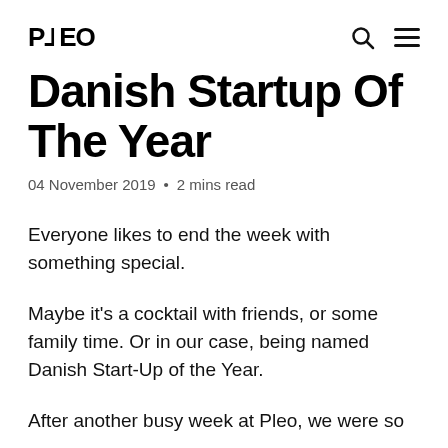PLEO
Danish Startup Of The Year
04 November 2019 · 2 mins read
Everyone likes to end the week with something special.
Maybe it's a cocktail with friends, or some family time. Or in our case, being named Danish Start-Up of the Year.
After another busy week at Pleo, we were so